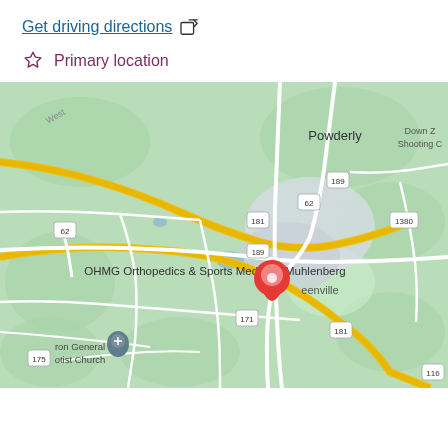Get driving directions [share icon]
☆ Primary location
[Figure (map): Google Maps view showing OHMG Orthopedics & Sports Medicine Muhlenberg location in Greenville area, with surrounding roads including routes 62, 181, 189, 171, 1380, 175, 116. Shows nearby areas: Powderly, Down Z Shooting C. A red location pin marks the clinic site. A gray location marker indicates ron General otist Church.]